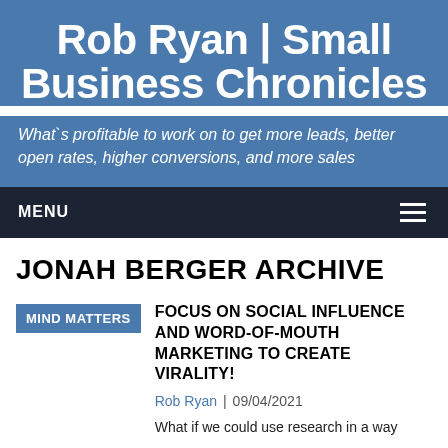Rob Ryan | Small Business Chronicles
What`s profitable to work on to get more leads, better open rates, higher conversions, and more sales
MENU
JONAH BERGER ARCHIVE
MIND MATTERS
FOCUS ON SOCIAL INFLUENCE AND WORD-OF-MOUTH MARKETING TO CREATE VIRALITY!
Rob Ryan | 09/04/2021
What if we could use research in a way that helps us understand how things go viral, use marketing t